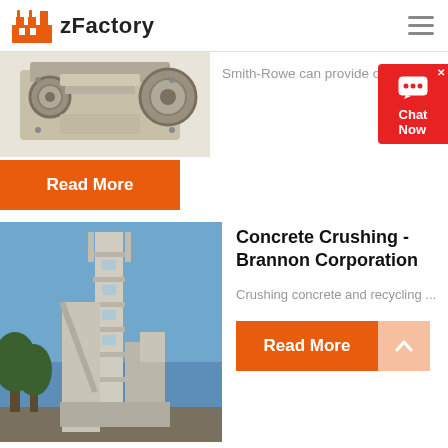zFactory
[Figure (photo): Industrial crusher machine, beige/grey, partially visible at top of page]
Smith-Rowe can provide on-site ...
Read More
[Figure (photo): Chat Now widget in red on right side]
[Figure (photo): Industrial factory/plant tower with blue sky background]
Concrete Crushing - Brannon Corporation
Crushing concrete and recycling ...
Read More